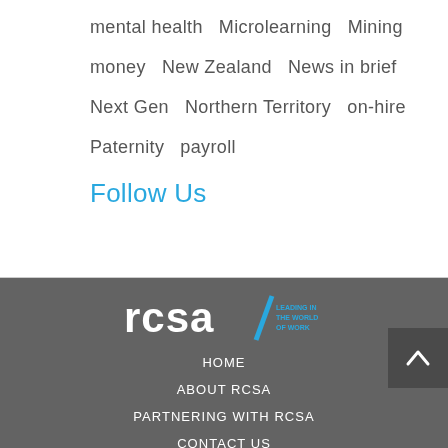mental health   Microlearning   Mining   money   New Zealand   News in brief   Next Gen   Northern Territory   on-hire   Paternity   payroll
Follow Us
[Figure (logo): RCSA logo with tagline 'Leading in the world of work' in white on dark grey background]
HOME
ABOUT RCSA
PARTNERING WITH RCSA
CONTACT US